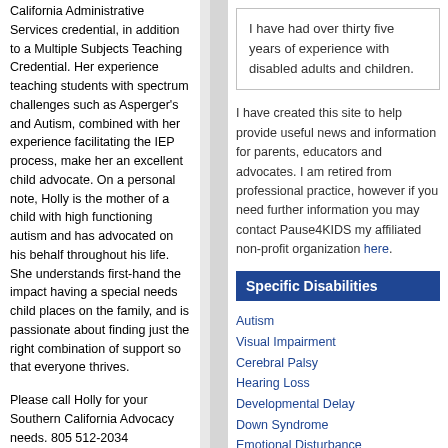California Administrative Services credential, in addition to a Multiple Subjects Teaching Credential. Her experience teaching students with spectrum challenges such as Asperger's and Autism, combined with her experience facilitating the IEP process, make her an excellent child advocate. On a personal note, Holly is the mother of a child with high functioning autism and has advocated on his behalf throughout his life. She understands first-hand the impact having a special needs child places on the family, and is passionate about finding just the right combination of support so that everyone thrives.
Please call Holly for your Southern California Advocacy needs. 805 512-2034
Advocacy Training
I have had over thirty five years of experience with disabled adults and children.
I have created this site to help provide useful news and information for parents, educators and advocates. I am retired from professional practice, however if you need further information you may contact Pause4KIDS my affiliated non-profit organization here.
Specific Disabilities
Autism
Visual Impairment
Cerebral Palsy
Hearing Loss
Developmental Delay
Down Syndrome
Emotional Disturbance
Epilepsy
Intellectual Disability
Learning Disability